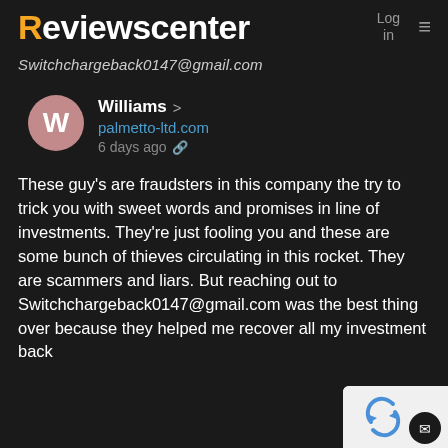Reviewscenter  Log in  ≡
Switchchargeback0147@gmail.com
Williams > palmetto-ltd.com 6 days ago
These guy's are fraudsters in this company the try to trick you with sweet words and promises in line of investments. They're just fooling you and these are some bunch of thieves circulating in this rocket. They are scammers and liars. But reaching out to Switchchargeback0147@gmail.com was the best thing over because they helped me recover all my investment back